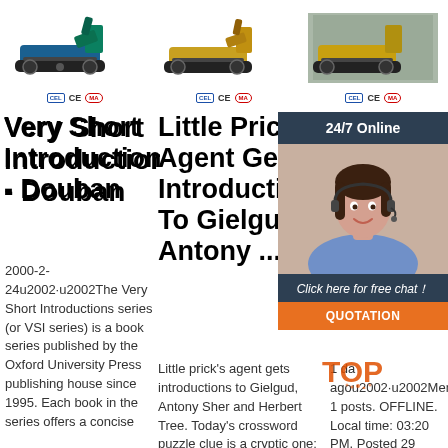[Figure (photo): Three product images of mini excavators/construction equipment shown in a row at the top of the page]
[Figure (infographic): Certification icons row: three groups each showing CEL, CE, and MA certification badges]
Very Short Introductions - Douban
2000-2-24u2002·u2002The Very Short Introductions series (or VSI series) is a book series published by the Oxford University Press publishing house since 1995. Each book in the series offers a concise
Little Prick's Agent Gets Introductions To Gielgud, Antony ...
Little prick's agent gets introductions to Gielgud, Antony Sher and Herbert Tree. Today's crossword puzzle clue is a cryptic one: Little prick's agent
He... Ev... Th... Ac... An... G...
1 da... agou2002·u2002Memb... 1 posts. OFFLINE. Local time: 03:20 PM. Posted 29 October 2021 - 04:48 AM. he everyone thanks for
[Figure (photo): 24/7 Online customer service chat widget with a smiling female agent wearing a headset, dark blue header and footer panels, and an orange QUOTATION button]